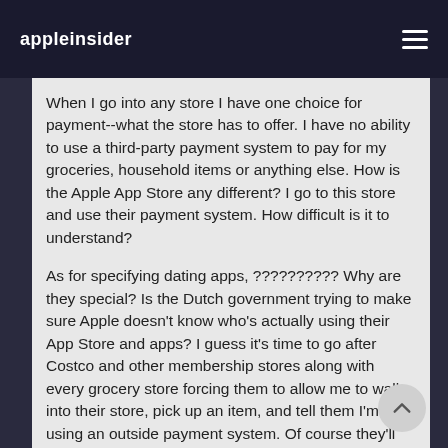appleinsider
When I go into any store I have one choice for payment--what the store has to offer. I have no ability to use a third-party payment system to pay for my groceries, household items or anything else. How is the Apple App Store any different? I go to this store and use their payment system. How difficult is it to understand?
As for specifying dating apps, ?????????? Why are they special? Is the Dutch government trying to make sure Apple doesn't know who's actually using their App Store and apps? I guess it's time to go after Costco and other membership stores along with every grocery store forcing them to allow me to walk into their store, pick up an item, and tell them I'm using an outside payment system. Of course they'll let me walk out the door. /s Yea, right into a police car on its way to jail. I know all of this is being done because governments want to dictate anything they can while not telling anyone how much in bribes